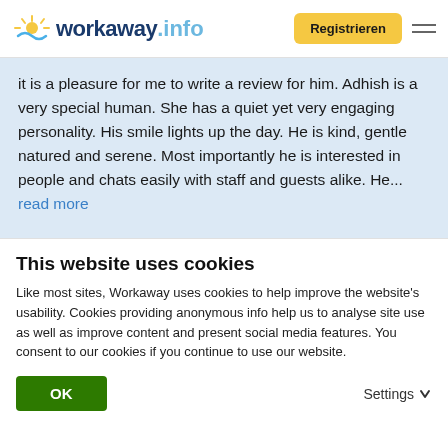workaway.info – Registrieren
it is a pleasure for me to write a review for him. Adhish is a very special human. She has a quiet yet very engaging personality. His smile lights up the day. He is kind, gentle natured and serene. Most importantly he is interested in people and chats easily with staff and guests alike. He... read more
[Figure (photo): Circular profile photo of a multi-storey building with balconies, outdoor seating area]
[Figure (other): Five gold star rating with text (Ausgezeichnet)]
This website uses cookies
Like most sites, Workaway uses cookies to help improve the website's usability. Cookies providing anonymous info help us to analyse site use as well as improve content and present social media features.  You consent to our cookies if you continue to use our website.
OK  Settings